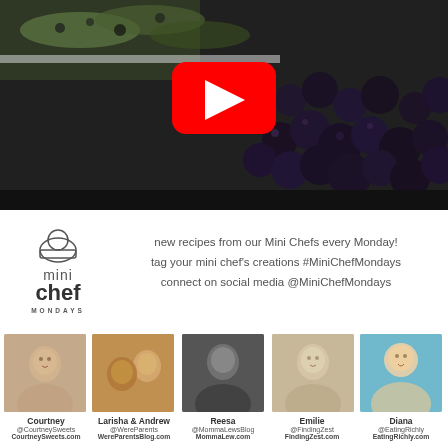[Figure (screenshot): YouTube video thumbnail showing frozen blueberry/matcha popsicles with blueberries, with YouTube play button overlay in center]
[Figure (logo): Mini Chef Mondays logo with chef hat icon, text 'mini chef MONDAYS']
new recipes from our Mini Chefs every Monday!
tag your mini chef's creations #MiniChefMondays
connect on social media @MiniChefMondays
[Figure (photo): Headshot photo of Courtney]
Courtney
@CourtneySweets
CourtneySweets.com
[Figure (photo): Photo of Larisha and Andrew]
Larisha & Andrew
@WereParents
WereParentsBlog.com
[Figure (photo): Headshot photo of Reesa]
Reesa
@MommaLewsBlog
MommaLew.com
[Figure (photo): Headshot photo of Emilie]
Emilie
@FindingZest
FindingZest.com
[Figure (photo): Headshot photo of Diana]
Diana
@EatingRichly
EatingRichly.com